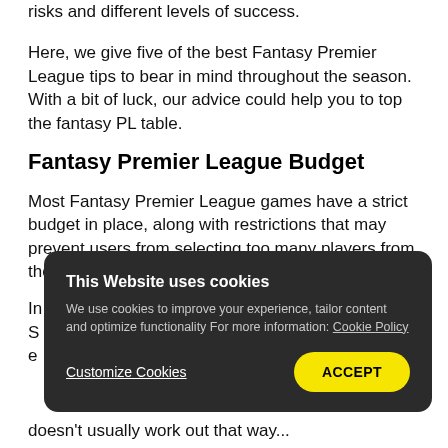risks and different levels of success.
Here, we give five of the best Fantasy Premier League tips to bear in mind throughout the season. With a bit of luck, our advice could help you to top the fantasy PL table.
Fantasy Premier League Budget
Most Fantasy Premier League games have a strict budget in place, along with restrictions that may prevent users from selecting too many players from the same team as well as limiting transfers.
In... p... S... e... doesn't usually work out that way...
This Website uses cookies
We use cookies to improve your experience, tailor content and optimize functionality For more information: Cookie Policy
Customize Cookies    ACCEPT